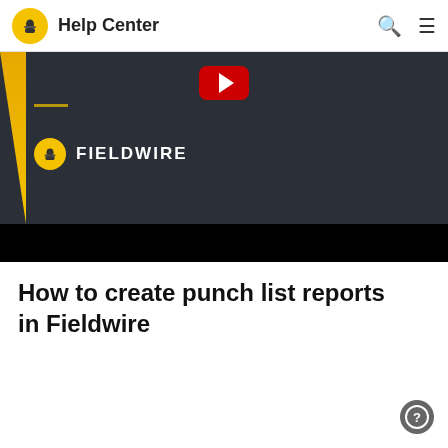Help Center
[Figure (screenshot): Fieldwire video thumbnail showing the Fieldwire logo on a dark background with a red YouTube play button, yellow accent stripe on left, and black bar at bottom]
How to create punch list reports in Fieldwire